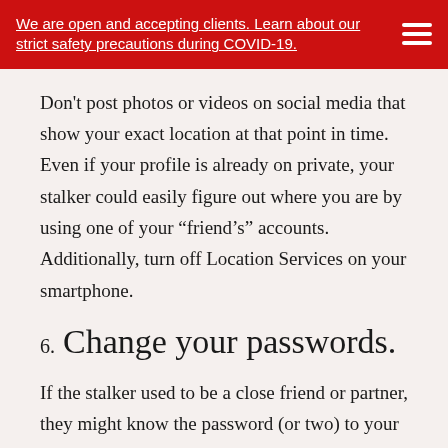We are open and accepting clients. Learn about our strict safety precautions during COVID-19.
Don't post photos or videos on social media that show your exact location at that point in time. Even if your profile is already on private, your stalker could easily figure out where you are by using one of your “friend’s” accounts. Additionally, turn off Location Services on your smartphone.
6. Change your passwords.
If the stalker used to be a close friend or partner, they might know the password (or two) to your